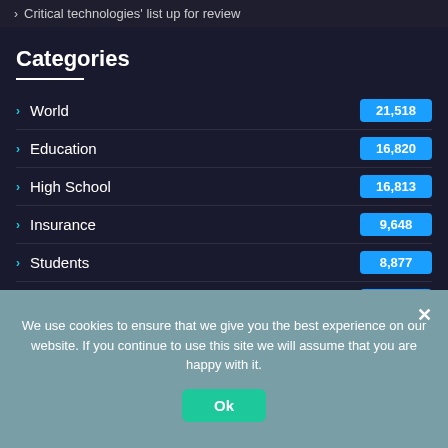Critical technologies' list up for review
Categories
World 21,518
Education 16,820
High School 16,813
Insurance 9,648
Students 8,877
Innovation 6,529
Metaverse 5,656
We use cookies to ensure that we give you the best experience on our website. If you continue to use this site we will assume that you are happy with it.